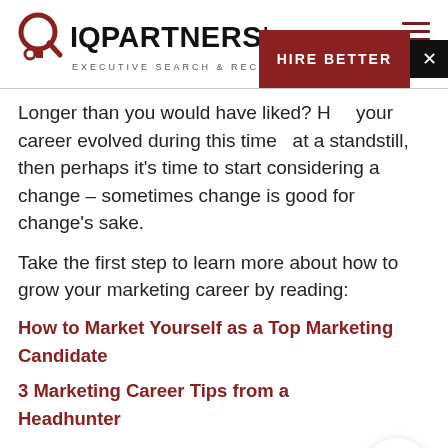IQ PARTNERS Inc. EXECUTIVE SEARCH & RECRUITMENT
Longer than you would have liked? Has your career evolved during this time? Or has it been at a standstill, then perhaps it’s time to start considering a change – sometimes change is good for change’s sake.
Take the first step to learn more about how to grow your marketing career by reading:
How to Market Yourself as a Top Marketing Candidate
3 Marketing Career Tips from a Headhunter
Outlining the Ever-Changing Landscape of Marketing